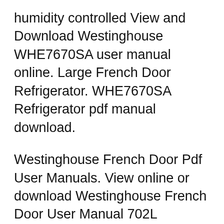humidity controlled View and Download Westinghouse WHE7670SA user manual online. Large French Door Refrigerator. WHE7670SA Refrigerator pdf manual download.
Westinghouse French Door Pdf User Manuals. View online or download Westinghouse French Door User Manual 702L Stainless steel FlexSpace french door refrigerator with 289L dual freezer, SmartSplit door design, ice and water dispenser, FreshSeal crispers, Flip Up shelves and SnackZones. Key Features. Dual Freezer Storage With extra freezer space, you can arrange your frozen items in a way that suits your lifestyle. Place the most important items...